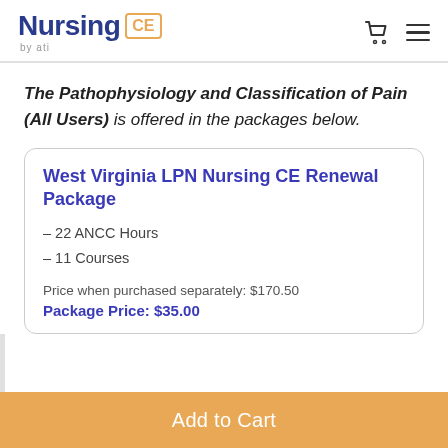Nursing CE by ati
The Pathophysiology and Classification of Pain (All Users) is offered in the packages below.
West Virginia LPN Nursing CE Renewal Package
– 22 ANCC Hours
– 11 Courses
Price when purchased separately: $170.50
Package Price: $35.00
Add to Cart